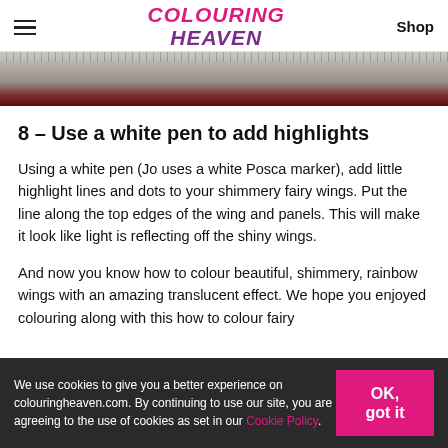COLOURING HEAVEN | Shop
[Figure (photo): Partial image of coloured artwork showing grey swirling lines and dark red/burgundy tones, cropped at the top of the content area]
8 – Use a white pen to add highlights
Using a white pen (Jo uses a white Posca marker), add little highlight lines and dots to your shimmery fairy wings. Put the line along the top edges of the wing and panels. This will make it look like light is reflecting off the shiny wings.
And now you know how to colour beautiful, shimmery, rainbow wings with an amazing translucent effect. We hope you enjoyed colouring along with this how to colour fairy
We use cookies to give you a better experience on colouringheaven.com. By continuing to use our site, you are agreeing to the use of cookies as set in our Cookie Policy.